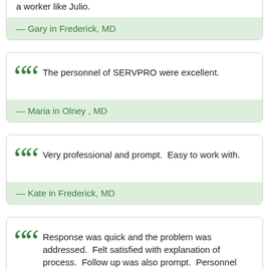a worker like Julio.
— Gary in Frederick, MD
The personnel of SERVPRO were excellent.
— Maria in Olney , MD
Very professional and prompt.  Easy to work with.
— Kate in Frederick, MD
Response was quick and the problem was addressed.  Felt satisfied with explanation of process.  Follow up was also prompt.  Personnel was